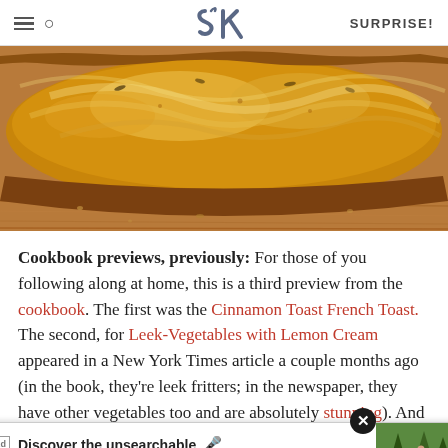SK | SURPRISE!
[Figure (photo): Close-up photograph of a loaf of braided or twisted bread, golden-brown crust, placed on a wooden surface]
Cookbook previews, previously: For those of you following along at home, this is a third preview from the cookbook. The first was the Cinnamon Toast French Toast. The second, for Leek-Vegetables with Lemon Cream appeared in a New York Times article a couple months ago (in the book, they're leek fritters; in the newspaper, they have other vegetables too and are absolutely stunning). And this is the third. Now, I realize from th[e...] ke the book is [...] ore like